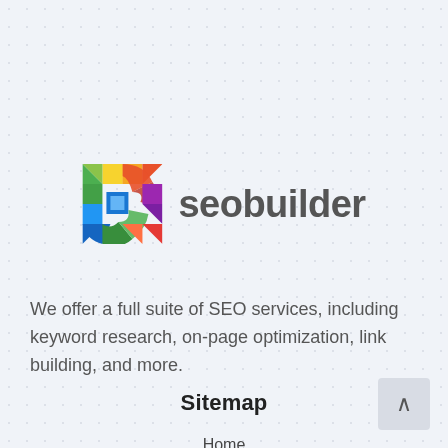[Figure (logo): SEOBuilder colorful geometric S logo with text 'seobuilder' in gray]
We offer a full suite of SEO services, including keyword research, on-page optimization, link building, and more.
Sitemap
Home